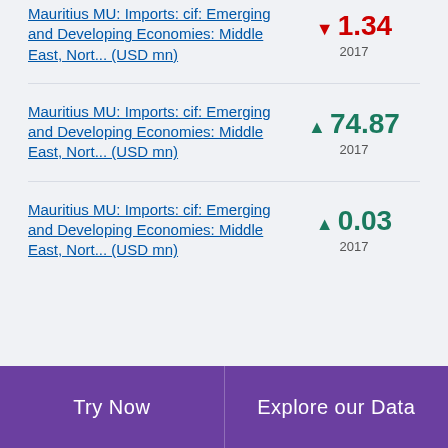Mauritius MU: Imports: cif: Emerging and Developing Economies: Middle East, Nort... (USD mn)
Mauritius MU: Imports: cif: Emerging and Developing Economies: Middle East, Nort... (USD mn)
Mauritius MU: Imports: cif: Emerging and Developing Economies: Middle East, Nort... (USD mn)
Try Now | Explore our Data